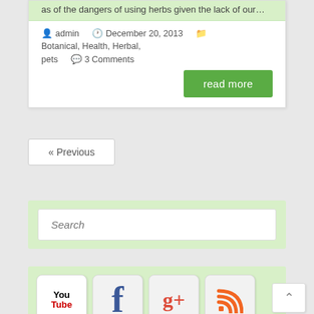as of the dangers of using herbs given the lack of our…
admin  December 20, 2013  Botanical, Health, Herbal, pets  3 Comments
read more
« Previous
Search
[Figure (infographic): Social media icons: YouTube, Facebook, Google+, RSS, Twitter, Pinterest, and a star/favorites icon arranged in a grid]